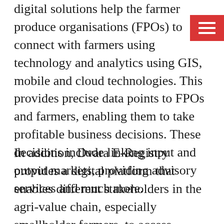digital solutions help the farmer produce organisations (FPOs) to connect with farmers using technology and analytics using GIS, mobile and cloud technologies. This provides precise data points to FPOs and farmers, enabling them to take profitable business decisions. These decisions include linking input and output markets, providing advisory services and much more.
In addition, Dvara E-Registry provides a digital platform that enables different stakeholders in the agri-value chain, especially smallholder farmers, to access financial products and agricultural markets.